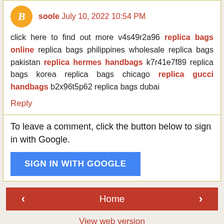soole July 10, 2022 10:54 PM
click here to find out more v4s49r2a96 replica bags online replica bags philippines wholesale replica bags pakistan replica hermes handbags k7r41e7f89 replica bags korea replica bags chicago replica gucci handbags b2x96t5p62 replica bags dubai
Reply
To leave a comment, click the button below to sign in with Google.
SIGN IN WITH GOOGLE
Home
View web version
Contributors
Nate Maas